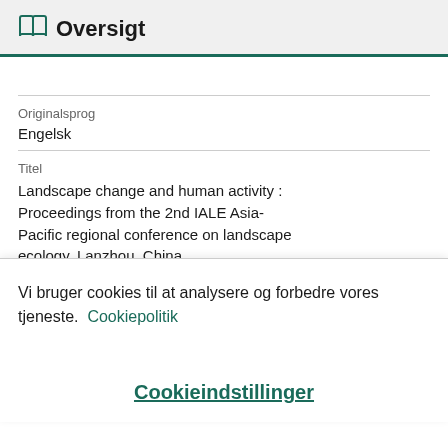Oversigt
| Originalsprog | Engelsk |
| Titel | Landscape change and human activity : Proceedings from the 2nd IALE Asia-Pacific regional conference on landscape ecology, Lanzhou, China |
Vi bruger cookies til at analysere og forbedre vores tjeneste. Cookiepolitik
Cookieindstillinger